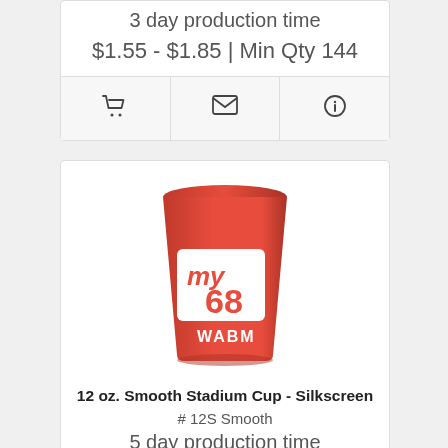3 day production time
$1.55 - $1.85 | Min Qty 144
[Figure (other): Three icon buttons: shopping cart, envelope, info]
[Figure (photo): Red 12 oz smooth stadium cup with white logo reading 'my 68 WABM']
12 oz. Smooth Stadium Cup - Silkscreen
# 12S Smooth
5 day production time
$0.49 - $0.56 | Min Qty 100